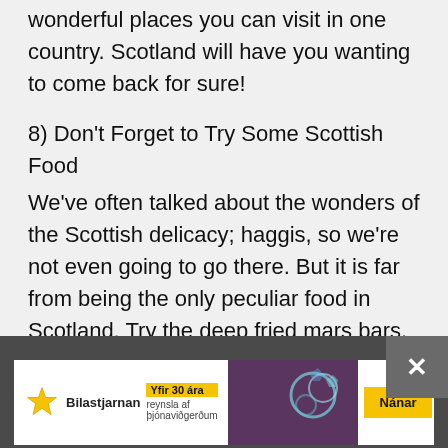wonderful places you can visit in one country. Scotland will have you wanting to come back for sure!
8) Don't Forget to Try Some Scottish Food
We've often talked about the wonders of the Scottish delicacy; haggis, so we're not even going to go there. But it is far from being the only peculiar food in Scotland. Try the deep fried mars bars, oh yes, that's a thing, Cullen skink, Porridge or Grouse.
9) Don't Ask Too Much
[Figure (other): Advertisement banner for Bilastjarnan car service company with yellow highlighted text 'Yfir 30 ára' and 'Nánar' button]